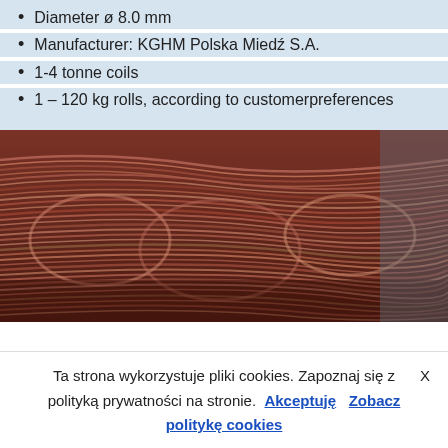Diameter ø 8.0 mm
Manufacturer: KGHM Polska Miedź S.A.
1-4 tonne coils
1 – 120 kg rolls, according to customer preferences
[Figure (photo): Coils of copper wire rod bundled together, reddish-brown in color, stacked in a pile.]
Ta strona wykorzystuje pliki cookies. Zapoznaj się z polityką prywatności na stronie. Akceptuję Zobacz politykę cookies